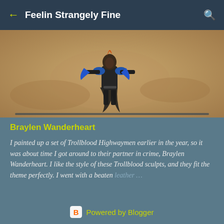Feelin Strangely Fine
[Figure (photo): A painted Trollblood Highwayman miniature figure with blue accents and dark armor, posing with arms outstretched against a blurred sandy background]
Braylen Wanderheart
I painted up a set of Trollblood Highwaymen earlier in the year, so it was about time I got around to their partner in crime, Braylen Wanderheart. I like the style of these Trollblood sculpts, and they fit the theme perfectly. I went with a beaten leather …
Powered by Blogger